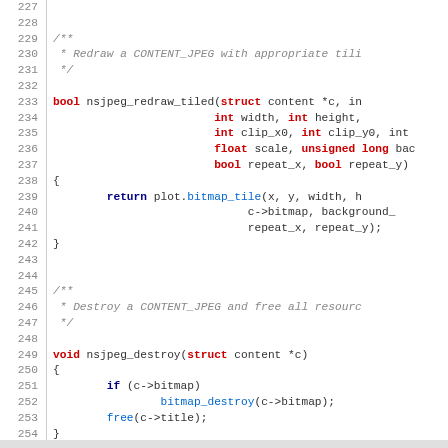Source code listing lines 227-254, C language, nsjpeg functions
227
228
229 /**
230  * Redraw a CONTENT_JPEG with appropriate tili...
231  */
232
233 bool nsjpeg_redraw_tiled(struct content *c, in...
234                          int width, int height,
235                          int clip_x0, int clip_y0, int...
236                          float scale, unsigned long bac...
237                          bool repeat_x, bool repeat_y)
238 {
239         return plot.bitmap_tile(x, y, width, h...
240                                    c->bitmap, background_...
241                                    repeat_x, repeat_y);
242 }
243
244
245 /**
246  * Destroy a CONTENT_JPEG and free all resourc...
247  */
248
249 void nsjpeg_destroy(struct content *c)
250 {
251         if (c->bitmap)
252                 bitmap_destroy(c->bitmap);
253         free(c->title);
254 }